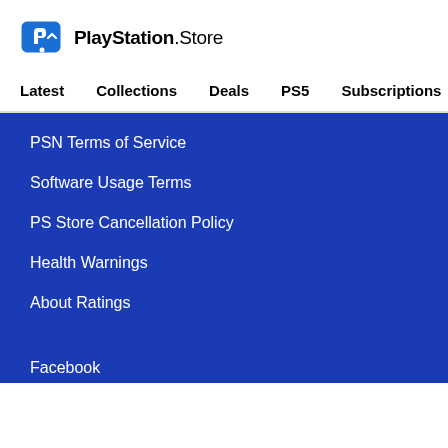PlayStation Store
Latest
Collections
Deals
PS5
Subscriptions
PSN Terms of Service
Software Usage Terms
PS Store Cancellation Policy
Health Warnings
About Ratings
Facebook
Twitter
YouTube